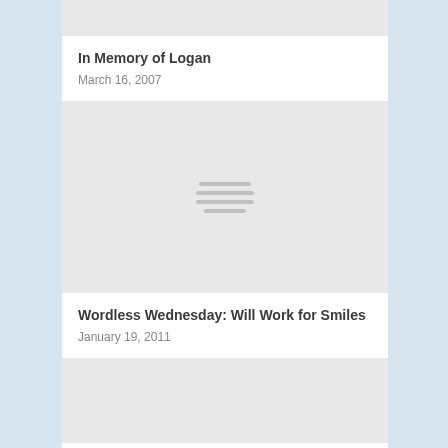[Figure (photo): Partially visible image placeholder at the top of the page]
In Memory of Logan
March 16, 2007
[Figure (photo): Image placeholder with a lines/list icon in the center]
Wordless Wednesday: Will Work for Smiles
January 19, 2011
[Figure (photo): Partially visible image placeholder at the bottom of the page]